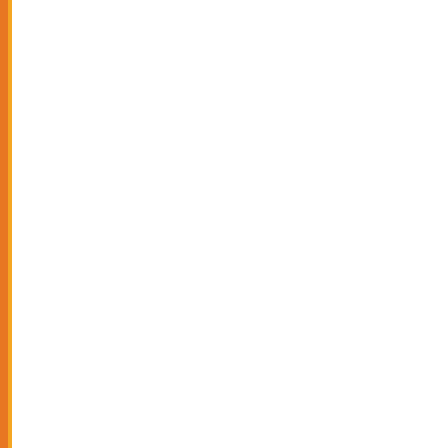| S.No. | Date | Title |
| --- | --- | --- |
| 312. | 27/06/2019 | Answer Key |
| 313. | 27/06/2019 | Question Bo... |
| 314. | 26/06/2019 | Result of BA... |
| 315. | 22/06/2019 | Cross Objec... |
| 316. | 22/06/2019 | Response to objections in... |
| 317. | 21/06/2019 | Press releas... BA/BCom LL... |
| 318. | 21/06/2019 | Response to objections in... |
| 319. | 18/06/2019 | Answer Key |
| 320. | 18/06/2019 | Answer Key... Course-201... |
| 321. | 18/06/2019 | Answer Key |
| 322. | 18/06/2019 | Answer Key... - 2019 |
| 323. | 18/06/2019 | Question Bo... |
| 324. | 18/06/2019 | Question Bo... |
| 325. | 18/06/2019 | Answer Key |